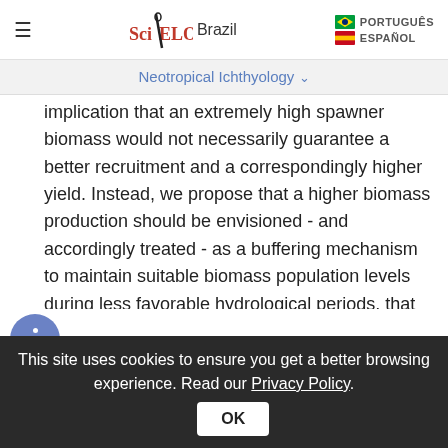SciELO Brazil | PORTUGUÊS | ESPAÑOL
Neotropical Ichthyology
implication that an extremely high spawner biomass would not necessarily guarantee a better recruitment and a correspondingly higher yield. Instead, we propose that a higher biomass production should be envisioned - and accordingly treated - as a buffering mechanism to maintain suitable biomass population levels during less favorable hydrological periods, that were not uncommon in the Paraná River and lasted one or more decades. As periodic strategists, the sábalo could also generate weak cohorts and even suffer a high mortality in the precruitment phase during
This site uses cookies to ensure you get a better browsing experience. Read our Privacy Policy.